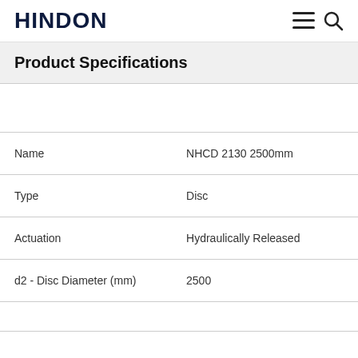HINDON
Product Specifications
| Field | Value |
| --- | --- |
| Name | NHCD 2130 2500mm |
| Type | Disc |
| Actuation | Hydraulically Released |
| d2 - Disc Diameter (mm) | 2500 |